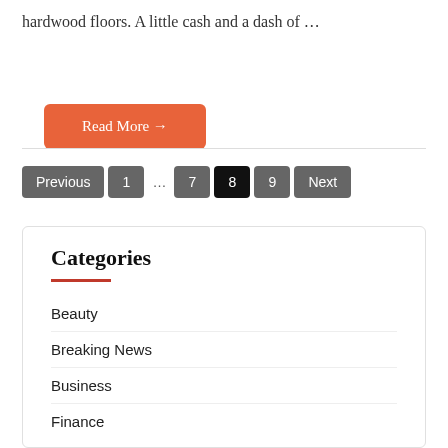hardwood floors. A little cash and a dash of …
[Figure (other): Orange 'Read More →' button]
[Figure (other): Pagination bar: Previous, 1, …, 7, 8 (active/black), 9, Next]
Categories
Beauty
Breaking News
Business
Finance